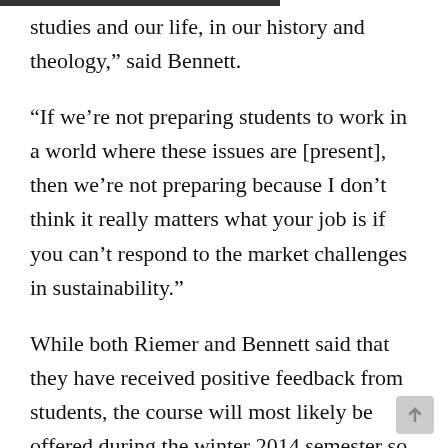studies and our life, in our history and theology,” said Bennett.
“If we’re not preparing students to work in a world where these issues are [present], then we’re not preparing because I don’t think it really matters what your job is if you can’t respond to the market challenges in sustainability.”
While both Riemer and Bennett said that they have received positive feedback from students, the course will most likely be offered during the winter 2014 semester so it can be advertised in the fall to both new and existing students.